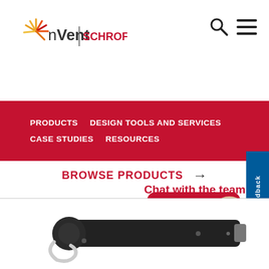[Figure (logo): nVent SCHROFF logo with sunburst icon in orange/yellow/red, company name in dark gray and red]
[Figure (other): Search icon (magnifying glass) and hamburger menu icon in top right corner]
PRODUCTS   DESIGN TOOLS AND SERVICES   CASE STUDIES   RESOURCES
BROWSE PRODUCTS →
Chat with the team
[Figure (illustration): Red speech bubble with three white horizontal lines and a circular portrait photo of a woman in business attire, with a gray shadow speech bubble behind]
[Figure (photo): Black metal industrial handle or rack mounting bracket component, with curved hook end and silver accent]
Feedback